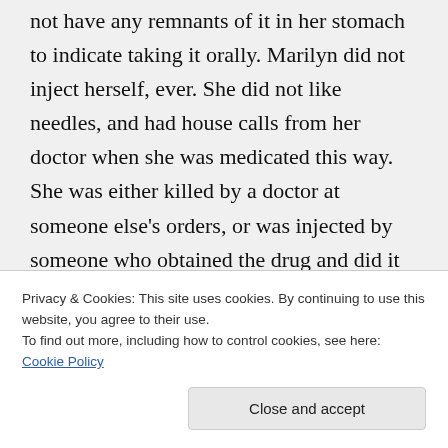not have any remnants of it in her stomach to indicate taking it orally. Marilyn did not inject herself, ever. She did not like needles, and had house calls from her doctor when she was medicated this way. She was either killed by a doctor at someone else's orders, or was injected by someone who obtained the drug and did it themselves. It is pretty similar to what happened to Michael Jackson in that he was killed by his doctor and did not kill
Privacy & Cookies: This site uses cookies. By continuing to use this website, you agree to their use.
To find out more, including how to control cookies, see here: Cookie Policy
Close and accept